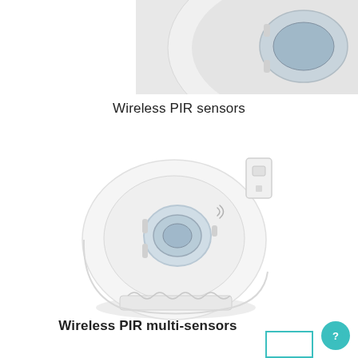[Figure (photo): Cropped top portion of a wireless PIR sensor product, showing white rounded device on a light gray background.]
Wireless PIR sensors
[Figure (photo): A white circular wireless PIR multi-sensor device shown at an angle on a white background, with a mounting bracket visible on the side.]
Wireless PIR multi-sensors